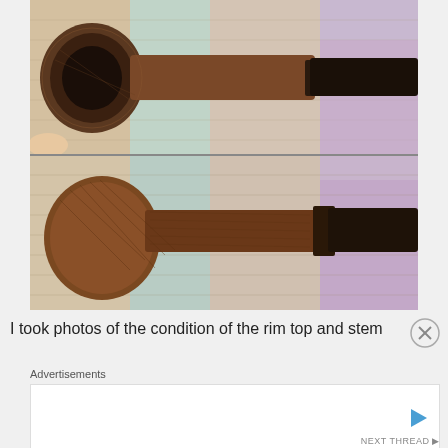[Figure (photo): Two photos of a tobacco pipe showing the rim top and stem. Top photo shows aerial view of pipe bowl and stem against a colorful woven rug background. Bottom photo shows side profile view of the same pipe lying flat on the same rug, showing the briar bowl and dark stem.]
I took photos of the condition of the rim top and stem
Advertisements